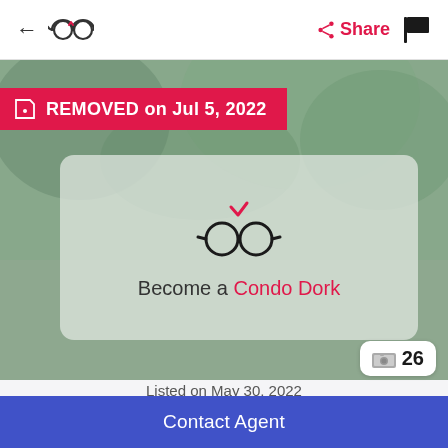← 🕶 | Share 🚩
[Figure (screenshot): Blurred outdoor background photo of a property with green foliage]
REMOVED on Jul 5, 2022
[Figure (logo): Condo Dork glasses logo icon with pink checkmark above]
Become a Condo Dork
26
Listed on May 30, 2022
255 Argyle Avenue
Unit P0...
Contact Agent